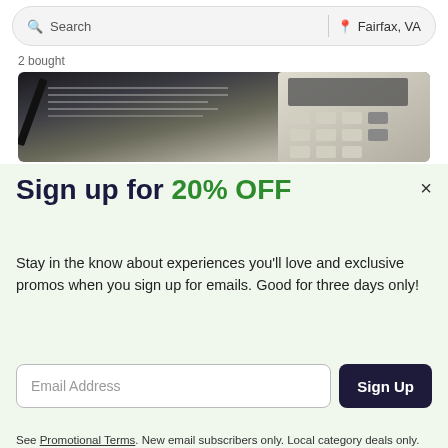Search  |  Fairfax, VA
2 bought
[Figure (photo): Close-up photo of a calculator and financial documents/spreadsheet]
Sign up for 20% OFF
Stay in the know about experiences you'll love and exclusive promos when you sign up for emails. Good for three days only!
Email Address  [Sign Up button]
See Promotional Terms. New email subscribers only. Local category deals only. By subscribing, I agree to the Terms of Use and have read the Privacy Statement